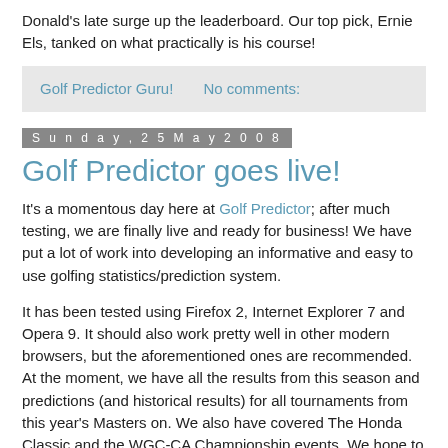Donald's late surge up the leaderboard. Our top pick, Ernie Els, tanked on what practically is his course!
Golf Predictor Guru!    No comments:
Sunday, 25 May 2008
Golf Predictor goes live!
It's a momentous day here at Golf Predictor; after much testing, we are finally live and ready for business! We have put a lot of work into developing an informative and easy to use golfing statistics/prediction system.
It has been tested using Firefox 2, Internet Explorer 7 and Opera 9. It should also work pretty well in other modern browsers, but the aforementioned ones are recommended. At the moment, we have all the results from this season and predictions (and historical results) for all tournaments from this year's Masters on. We also have covered The Honda Classic and the WGC-CA Championship events. We hope to